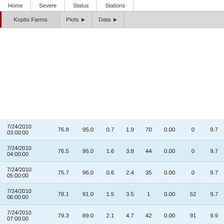Navigation: Home | Severe | Status | Stations | Koptis Farms | Plots | Data
[Figure (logo): Alabama A&M University shield logo with text]
| DateTime | Col1 | Col2 | Col3 | Col4 | Col5 | Col6 | Col7 | Col8 |
| --- | --- | --- | --- | --- | --- | --- | --- | --- |
| 7/24/2010 03:00:00 | 76.8 | 95.0 | 0.7 | 1.9 | 70 | 0.00 | 0 | 9.7 |
| 7/24/2010 04:00:00 | 76.5 | 95.0 | 1.6 | 3.8 | 44 | 0.00 | 0 | 9.7 |
| 7/24/2010 05:00:00 | 75.7 | 96.0 | 0.6 | 2.4 | 35 | 0.00 | 0 | 9.7 |
| 7/24/2010 06:00:00 | 78.1 | 91.0 | 1.5 | 3.5 | 1 | 0.00 | 52 | 9.7 |
| 7/24/2010 07:00:00 | 79.3 | 89.0 | 2.1 | 4.7 | 42 | 0.00 | 91 | 9.9 |
| 7/24/2010 08:00:00 | 81.1 | 83.0 | 2.7 | 6.0 | 48 | 0.00 | 141 | 10. |
| 7/24/2010 09:00:00 | 83.8 | 79.0 | 4.6 | 8.4 | 78 | 0.00 | 292 | 9.8 |
| 7/24/2010 |  |  |  |  |  |  |  |  |